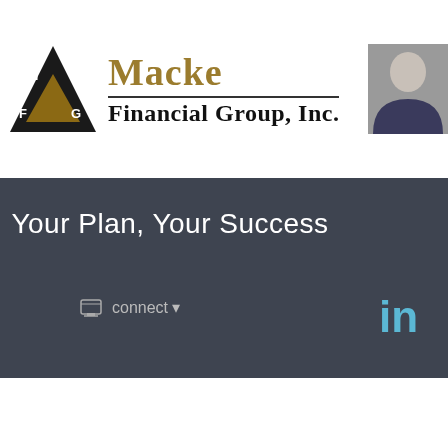[Figure (logo): Macke Financial Group Inc. logo with triangle MFG emblem and company name in gold and black serif font, alongside a professional headshot photo of a man in a suit]
Menu ≡
Your Plan, Your Success
connect ▾
[Figure (logo): LinkedIn 'in' icon in light blue]
Print